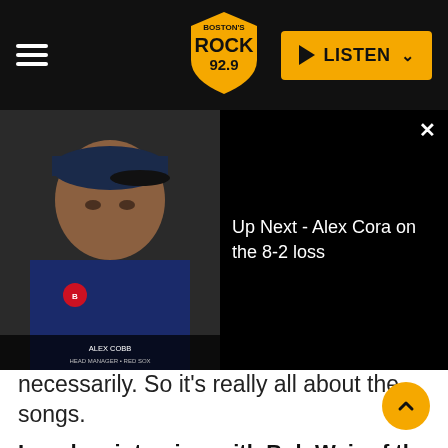Boston's Rock 92.9 | LISTEN
[Figure (screenshot): Ad overlay showing a video thumbnail of Alex Cobb (man in baseball cap) on the left half and text 'Up Next - Alex Cora on the 8-2 loss' on the right half against black background. Top-left shows 'Ad 1 of 1 (0:30)' label and an X close button.]
necessarily. So it's really all about the songs.
I read an interview with Bob Weir of the Grateful Dead, and he's doing the Dead & Company thing [former Dead members Weir and drummers Billy Kreutzmann and Micky Hart play Grateful Dead songs with John Mayer, Oteil Burbridge and Jeff Chimenti]. And Bob Weir said that he fully expects that one day he, Hart and